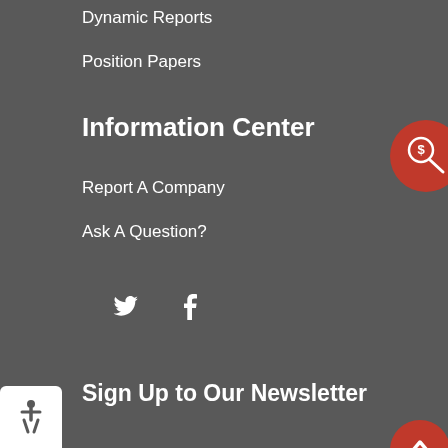Dynamic Reports
Position Papers
Information Center
Report A Company
Ask A Question?
[Figure (logo): Red circular icon with a dollar sign magnifying glass]
[Figure (illustration): Twitter bird icon and Facebook F icon as social media links]
Sign Up to Our Newsletter
[Figure (infographic): Email Address input field with Join! button below and red up-arrow circle button]
[Figure (illustration): Accessibility wheelchair icon in white rounded box bottom left]